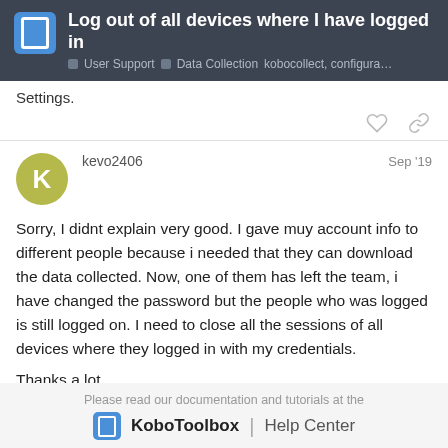Log out of all devices where I have logged in | User Support | Data Collection | kobocollect, configura…
Settings.
kevo2406  Sep '19
Sorry, I didnt explain very good. I gave muy account info to different people because i needed that they can download the data collected. Now, one of them has left the team, i have changed the password but the people who was logged is still logged on. I need to close all the sessions of all devices where they logged in with my credentials.
Thanks a lot.
Please read our documentation and tutorials at the KoboToolbox | Help Center